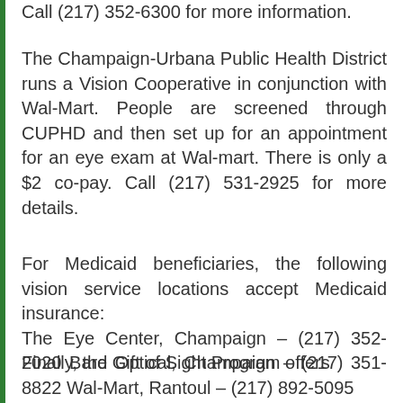Call (217) 352-6300 for more information.
The Champaign-Urbana Public Health District runs a Vision Cooperative in conjunction with Wal-Mart. People are screened through CUPHD and then set up for an appointment for an eye exam at Wal-mart. There is only a $2 co-pay. Call (217) 531-2925 for more details.
For Medicaid beneficiaries, the following vision service locations accept Medicaid insurance:
The Eye Center, Champaign – (217) 352-2020 Bard Optical, Champaign – (217) 351-8822 Wal-Mart, Rantoul – (217) 892-5095
Finally, the Gift of Sight Program offers